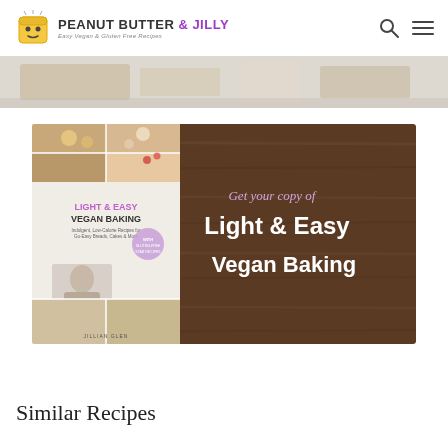PEANUT BUTTER & JILLY — Easy Vegan & Gluten Free Recipes
[Figure (photo): Partial view of food photography on marble surface at top of page]
[Figure (photo): Promotional banner for 'Light & Easy Vegan Baking' book on wooden background. Left side shows book cover with grid of baked goods photos and author. Right side text reads 'Get your copy of Light & Easy Vegan Baking' in white and lavender text.]
Similar Recipes